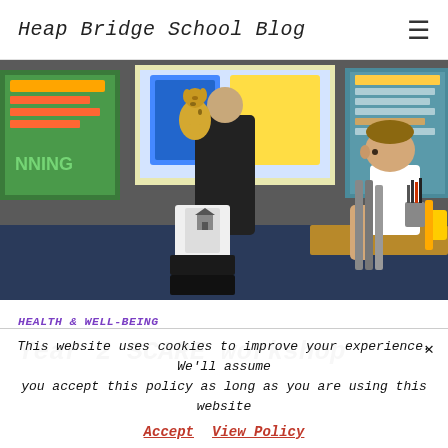Heap Bridge School Blog
[Figure (photo): Classroom scene showing a teacher holding a giraffe puppet/toy at the front of the class, with a young boy seated at a desk in the foreground holding some kind of equipment. Classroom displays and a projector screen are visible in the background.]
HEALTH & WELL-BEING
Year 2 SCARE workshop
This website uses cookies to improve your experience. We'll assume you accept this policy as long as you are using this website
Accept   View Policy